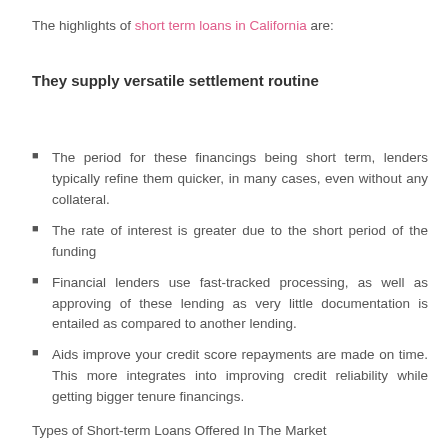The highlights of short term loans in California are:
They supply versatile settlement routine
The period for these financings being short term, lenders typically refine them quicker, in many cases, even without any collateral.
The rate of interest is greater due to the short period of the funding
Financial lenders use fast-tracked processing, as well as approving of these lending as very little documentation is entailed as compared to another lending.
Aids improve your credit score repayments are made on time. This more integrates into improving credit reliability while getting bigger tenure financings.
Types of Short-term Loans Offered In The Market